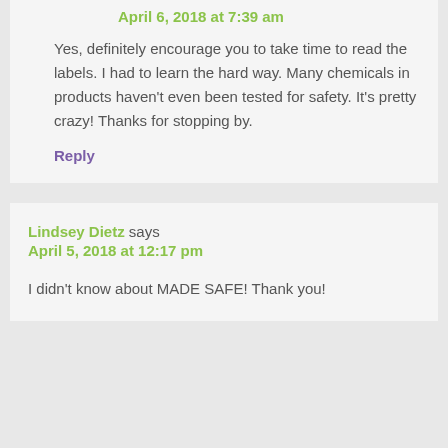April 6, 2018 at 7:39 am
Yes, definitely encourage you to take time to read the labels. I had to learn the hard way. Many chemicals in products haven't even been tested for safety. It's pretty crazy! Thanks for stopping by.
Reply
Lindsey Dietz says
April 5, 2018 at 12:17 pm
I didn't know about MADE SAFE! Thank you!